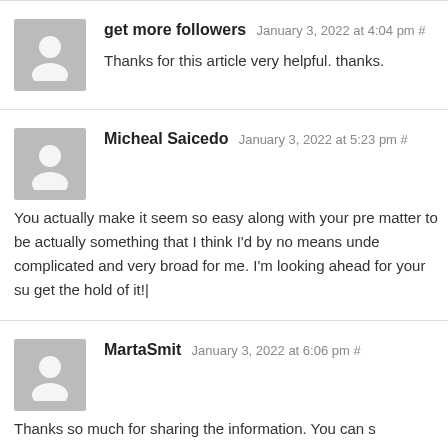get more followers January 3, 2022 at 4:04 pm #
Thanks for this article very helpful. thanks.
Micheal Saicedo January 3, 2022 at 5:23 pm #
You actually make it seem so easy along with your pre matter to be actually something that I think I'd by no means unde complicated and very broad for me. I'm looking ahead for your su get the hold of it!|
MartaSmit January 3, 2022 at 6:06 pm #
Thanks so much for sharing the information. You can s https://bit.ly/3sRlKDe